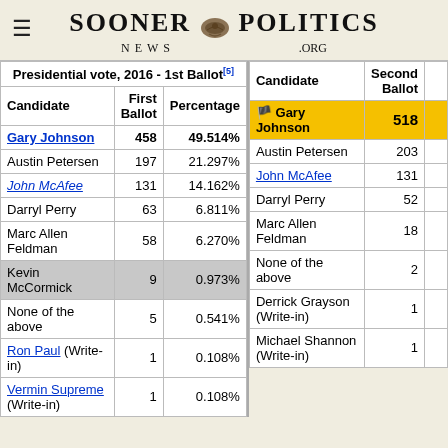Sooner Politics News .org
| Candidate | First Ballot | Percentage |
| --- | --- | --- |
| Gary Johnson | 458 | 49.514% |
| Austin Petersen | 197 | 21.297% |
| John McAfee | 131 | 14.162% |
| Darryl Perry | 63 | 6.811% |
| Marc Allen Feldman | 58 | 6.270% |
| Kevin McCormick | 9 | 0.973% |
| None of the above | 5 | 0.541% |
| Ron Paul (Write-in) | 1 | 0.108% |
| Vermin Supreme (Write-in) | 1 | 0.108% |
| Candidate | Second Ballot |
| --- | --- |
| Gary Johnson | 518 |
| Austin Petersen | 203 |
| John McAfee | 131 |
| Darryl Perry | 52 |
| Marc Allen Feldman | 18 |
| None of the above | 2 |
| Derrick Grayson (Write-in) | 1 |
| Michael Shannon (Write-in) | 1 |